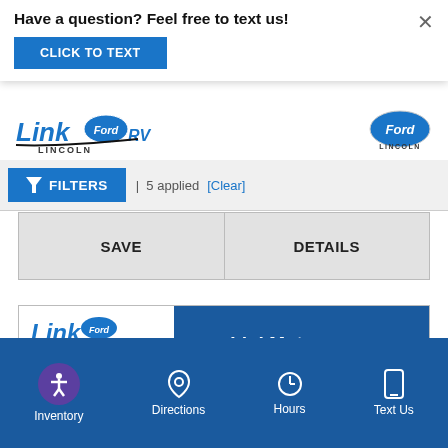Have a question? Feel free to text us!
CLICK TO TEXT
[Figure (logo): Link Ford Lincoln RV dealership logo on left and Ford Lincoln oval logo on right]
FILTERS | 5 applied [Clear]
SAVE
DETAILS
[Figure (screenshot): Link Motors dealership advertisement banner: LinkMotors.com with Home Delivery Available text and dealership building photo]
Inventory
Directions
Hours
Text Us